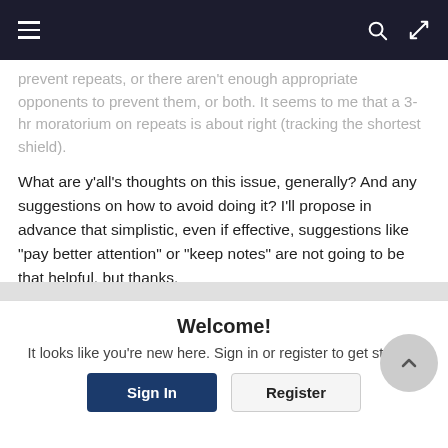Navigation bar with hamburger menu, search, and login icons
prevent repeats, or there aren't enough appropriate opponents to prevent them, or both. It seems to me that a 3-hr moratorium on repeats is about right (tracking the shortest shield).
What are y'all's thoughts on this issue, generally? And any suggestions on how to avoid doing it? I'll propose in advance that simplistic, even if effective, suggestions like "pay better attention" or "keep notes" are not going to be that helpful, but thanks.
Tagged: pvp, Suggestions, Ideas, shield sim
Welcome!
It looks like you're new here. Sign in or register to get started.